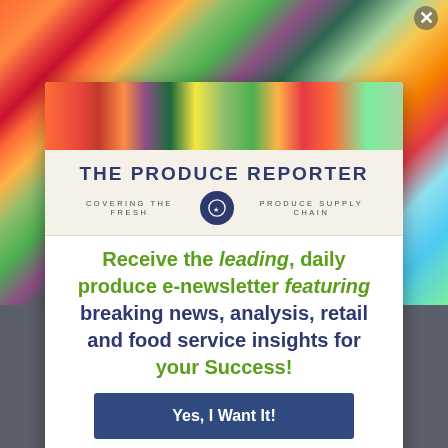[Figure (photo): Colorful fresh fruits and vegetables arranged as background image — grapefruits, peppers, watermelon, berries, cucumbers, pears, apples, oranges, greens]
THE PRODUCE REPORTER
COVERING THE FRESH PRODUCE SUPPLY CHAIN
Receive the leading, daily produce e-newsletter featuring breaking news, analysis, retail and food service insights for your Success!
Yes, I Want It!
No, I Already Get It.